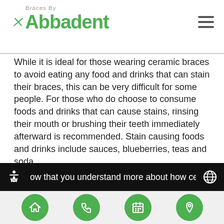Braces By Abbadent
While it is ideal for those wearing ceramic braces to avoid eating any food and drinks that can stain their braces, this can be very difficult for some people. For those who do choose to consume foods and drinks that can cause stains, rinsing their mouth or brushing their teeth immediately afterward is recommended. Stain causing foods and drinks include sauces, blueberries, teas and soda.
Are ceramic braces the right choice for you?
ow that you understand more about how ceramic
Home | Phone | Calendar | Location